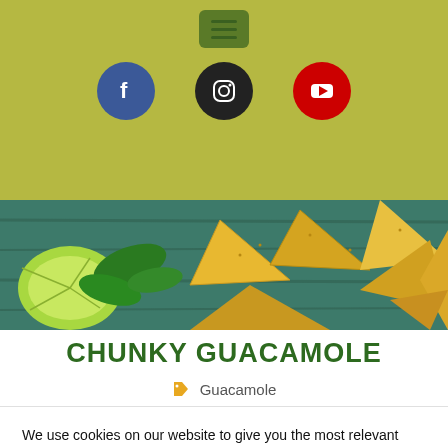Navigation header with hamburger menu and social icons (Facebook, Instagram, YouTube)
[Figure (photo): Food photograph showing lime wedges, green leaves, yellow tortilla/nacho chips on a teal wooden surface]
CHUNKY GUACAMOLE
Guacamole
We use cookies on our website to give you the most relevant experience by remembering your preferences and repeat visits. By clicking "Accept All", you consent to the use of ALL the cookies. However, you may visit "Cookie Settings" to provide a controlled consent.
Cookie Settings | Accept All